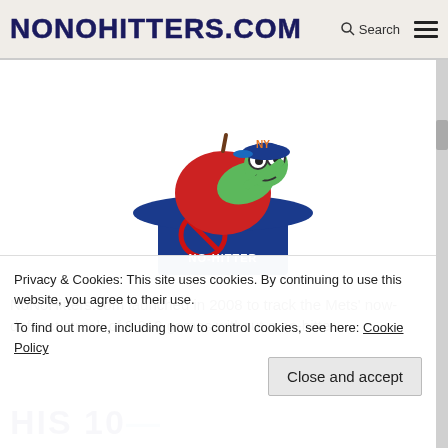NONOHITTERS.COM  🔍 Search  ☰
[Figure (illustration): Cartoon mascot: a green worm wearing glasses and a blue baseball cap emerging from a red apple sitting on a blue top hat. The hat has a red circle-with-slash 'no' symbol and text 'NO-HITTER' on it.]
NoNoHitters.com launched in 2008 to track the Mets' now-defunct streak of 8,019 games without a no-hitter...
Privacy & Cookies: This site uses cookies. By continuing to use this website, you agree to their use.
To find out more, including how to control cookies, see here: Cookie Policy
Close and accept